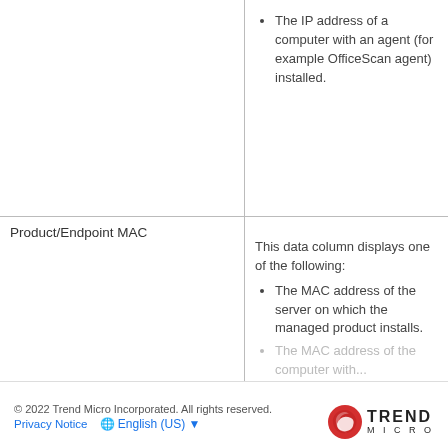| Column | Description |
| --- | --- |
|  | The IP address of a computer with an agent (for example OfficeScan agent) installed. |
| Product/Endpoint MAC | This data column displays one of the following:
• The MAC address of the server on which the managed product installs.
• The MAC address of the computer with... |
© 2022 Trend Micro Incorporated. All rights reserved.
Privacy Notice   English (US)